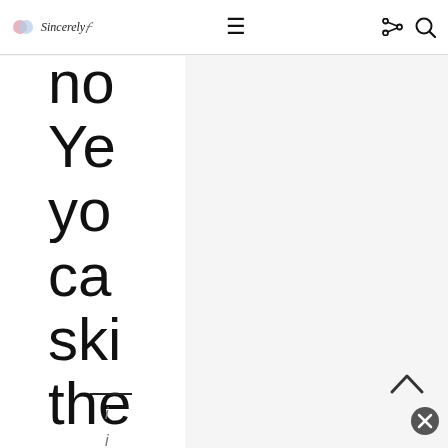Sincerely | [logo] navigation bar with hamburger menu, share icon, search icon
no
Ye
yo
ca
ski
the
pe
[Figure (other): Horizontal rule separator line]
i
i
P
[Figure (other): Back to top chevron arrow pointing up]
[Figure (other): Close/dismiss button circle with X]